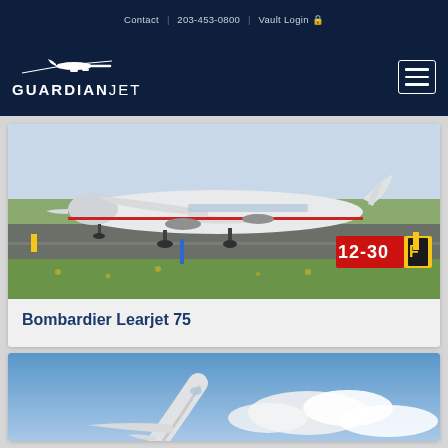Contact | 203-453-0800 | Vault Login
[Figure (logo): GuardianJet logo with airplane icon and wordmark on dark navy background, with hamburger menu button]
[Figure (photo): Bombardier Learjet 75 aircraft on runway taxiway with green grass and runway sign showing 12-30 F]
Bombardier Learjet 75
[Figure (photo): Aircraft in flight against blue sky with clouds, partially cropped]